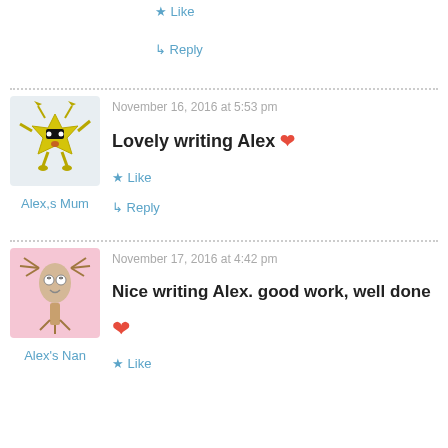★ Like
↳ Reply
[Figure (illustration): Yellow cartoon monster avatar for Alex,s Mum]
Alex,s Mum
November 16, 2016 at 5:53 pm
Lovely writing Alex ❤
★ Like
↳ Reply
[Figure (illustration): Pink background cartoon tree/figure avatar for Alex's Nan]
Alex's Nan
November 17, 2016 at 4:42 pm
Nice writing Alex. good work, well done ❤
★ Like